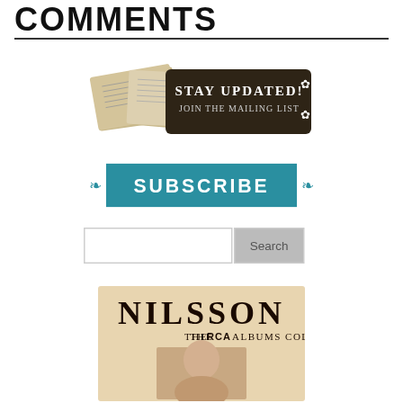COMMENTS
[Figure (illustration): Stay Updated! Join the Mailing List banner with vintage postcard imagery on dark brown background with decorative flourishes]
[Figure (illustration): SUBSCRIBE button in teal/cyan color with decorative fleur-de-lis symbols on either side]
[Figure (screenshot): Search input box with a 'Search' button to the right]
[Figure (illustration): Nilsson: The RCA Albums Collection album cover art showing large NILSSON text and THE RCA ALBUMS COLLECTION subtitle with a portrait photo below]